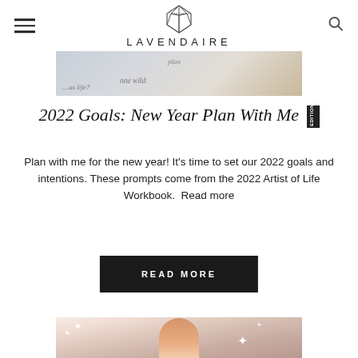LAVENDAIRE
[Figure (photo): Top cropped image showing planner/workbook pages with handwritten text including 'one wild' and 'plan']
2022 Goals: New Year Plan With Me
Plan with me for the new year! It's time to set our 2022 goals and intentions. These prompts come from the 2022 Artist of Life Workbook.  Read more
READ MORE
[Figure (photo): Young Asian woman smiling, holding a pen, surrounded by sparkle/star decorations overlaid on image]